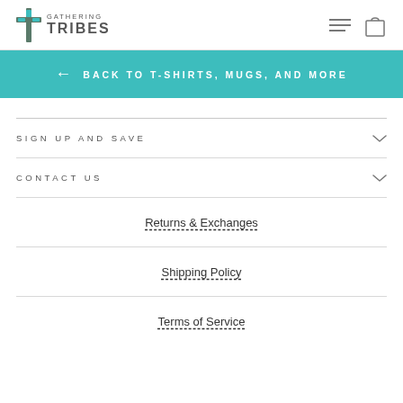Gathering Tribes
← BACK TO T-SHIRTS, MUGS, AND MORE
SIGN UP AND SAVE
CONTACT US
Returns & Exchanges
Shipping Policy
Terms of Service